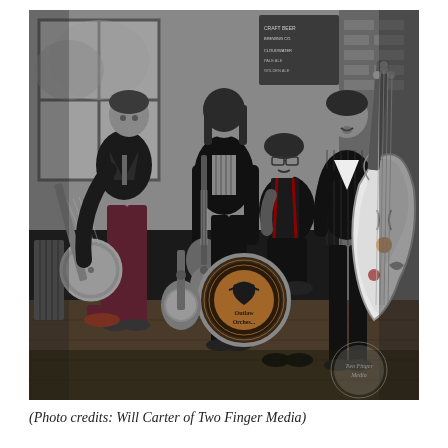[Figure (photo): Black and white photo of four musicians posing indoors in a bar or pub setting. From left: a man in a blazer with dark pants and burgundy trousers holding a banjo; a tall man in a striped shirt and dark jacket standing in the back holding a guitar; a man with glasses seated wearing dark apron-style clothing with suspenders; and a man on the right in a pinstripe suit holding a large upright bass decorated with stickers and artwork. A bass drum with 'Outlaw Orchestra' logo is visible in the center background. A watermark reads 'Two Finger Media' in the bottom right.]
(Photo credits: Will Carter of Two Finger Media)